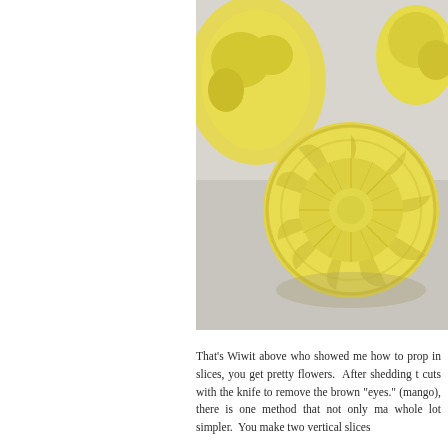[Figure (photo): Close-up photograph of peeled pineapple pieces on a white surface, showing the flower-like cross-section pattern of a pineapple slice with its characteristic eye pattern removed, alongside other pineapple chunks.]
That's Wiwit above who showed me how to prop in slices, you get pretty flowers.  After shedding t cuts with the knife to remove the brown "eyes." (mango), there is one method that not only ma whole lot simpler.  You make two vertical slices